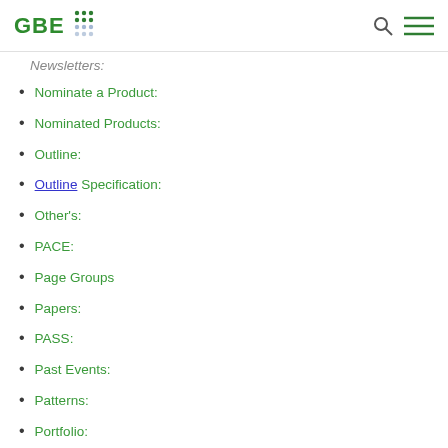GBE [logo with dots]
Nominate a Product:
Nominated Products:
Outline:
Outline Specification:
Other's:
PACE:
Page Groups
Papers:
PASS:
Past Events:
Patterns:
Portfolio:
Privacy Policy: G#748
Problems: